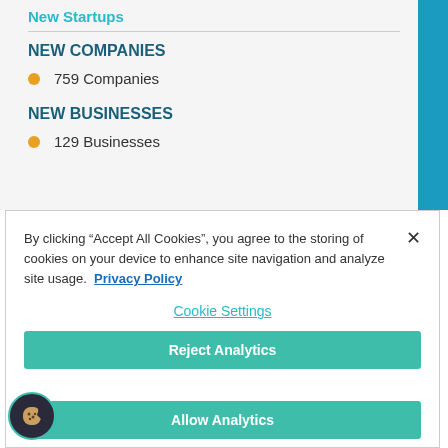New Startups
NEW COMPANIES
759 Companies
NEW BUSINESSES
129 Businesses
By clicking “Accept All Cookies”, you agree to the storing of cookies on your device to enhance site navigation and analyze site usage. Privacy Policy
Cookie Settings
Reject Analytics
Allow Analytics